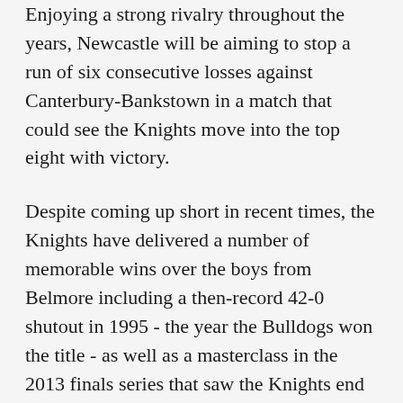Enjoying a strong rivalry throughout the years, Newcastle will be aiming to stop a run of six consecutive losses against Canterbury-Bankstown in a match that could see the Knights move into the top eight with victory.
Despite coming up short in recent times, the Knights have delivered a number of memorable wins over the boys from Belmore including a then-record 42-0 shutout in 1995 - the year the Bulldogs won the title - as well as a masterclass in the 2013 finals series that saw the Knights end the Bulldogs season with a 22-6 win in Sydney.